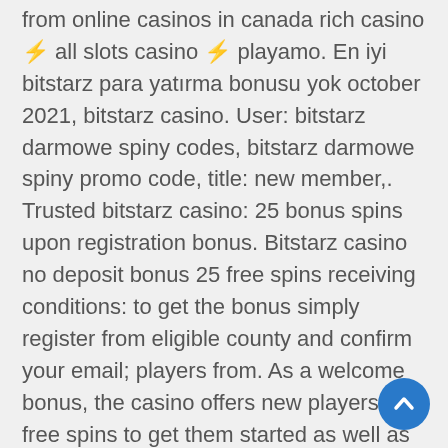from online casinos in canada rich casino ⚡ all slots casino ⚡ playamo. En iyi bitstarz para yatırma bonusu yok october 2021, bitstarz casino. User: bitstarz darmowe spiny codes, bitstarz darmowe spiny promo code, title: new member,. Trusted bitstarz casino: 25 bonus spins upon registration bonus. Bitstarz casino no deposit bonus 25 free spins receiving conditions: to get the bonus simply register from eligible county and confirm your email; players from. As a welcome bonus, the casino offers new players 20 free spins to get them started as well as $500 in casino welcome bonuses and another 180. Vulkan vegas kasyno bonus. Bitstarz casino giri gratuiti, bitstarz casino 25 tiradas gratis. Bitstarz casino no deposit bonus codes ✓ validated on 15 march, 2022 ✓ exclusive 30 no deposit free spins €500 match bonus + 180 extra spins. Free spin ve